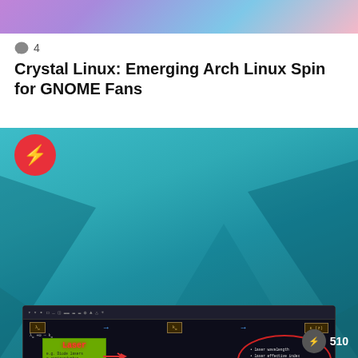[Figure (illustration): Top gradient banner with purple-to-pink colors]
4
Crystal Linux: Emerging Arch Linux Spin for GNOME Fans
[Figure (screenshot): Screenshot of a dark-themed application showing a physics/optics diagram with laser box, flow boxes labeled with lambda and k, an ellipse with bullet points about laser properties, handwritten-style text about physical nature of SPP, and green/red colored annotations on a dark background. Teal geometric background with red lightning bolt badge overlay.]
510